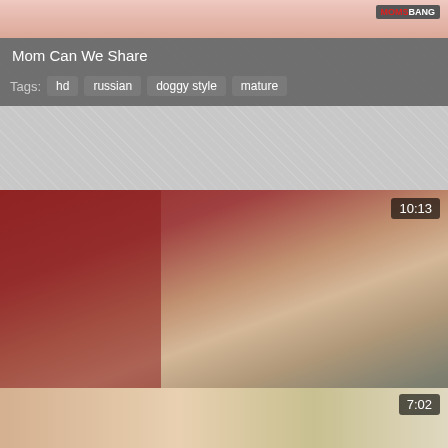[Figure (screenshot): Video thumbnail - partially visible, skin tones, MomsBang logo in top right]
Mom Can We Share
Tags: hd russian doggy style mature
[Figure (screenshot): Video thumbnail - woman in kitchen, duration 10:13, watermark www.atkhairy.c]
Hairy MILF Jana uses a toy on her natural
Tags: hd mature russian dildos/toys
[Figure (screenshot): Video thumbnail - partially visible, duration 7:02]